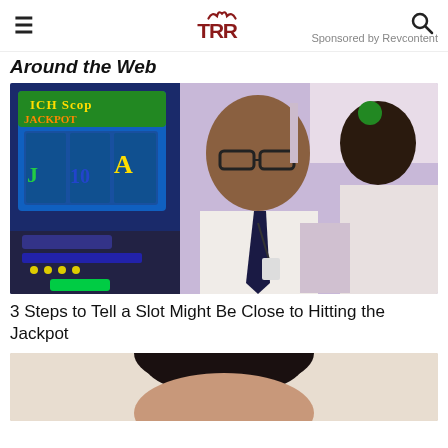TRR (logo) — hamburger menu and search icon
Around the Web
Sponsored by Revcontent
[Figure (photo): Casino scene with slot machines on the left showing a slot game screen, and two men in the center and right — one wearing a dark tie and lanyard, the other in a white shirt, in a casino environment.]
3 Steps to Tell a Slot Might Be Close to Hitting the Jackpot
[Figure (photo): Partial photo of a person, cropped at the top, showing the top of a head with dark hair against a light background.]